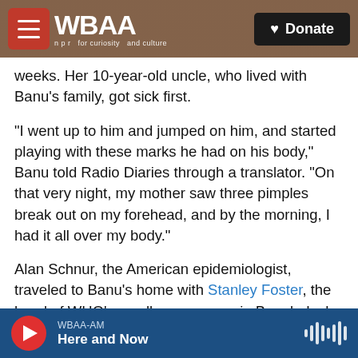WBAA NPR | Donate
weeks. Her 10-year-old uncle, who lived with Banu's family, got sick first.
"I went up to him and jumped on him, and started playing with these marks he had on his body," Banu told Radio Diaries through a translator. "On that very night, my mother saw three pimples break out on my forehead, and by the morning, I had it all over my body."
Alan Schnur, the American epidemiologist, traveled to Banu's home with Stanley Foster, the head of WHO's smallpox program in Bangladesh, to confirm that her infection was smallpox.
WBAA-AM Here and Now